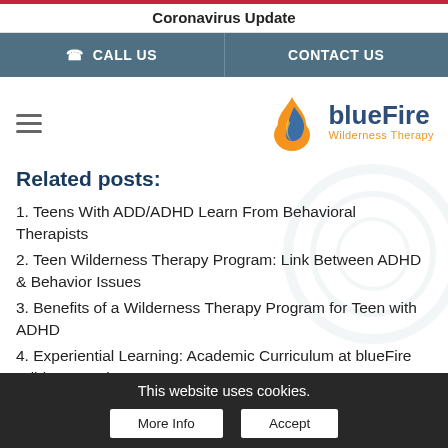Coronavirus Update
CALL US   CONTACT US
[Figure (logo): blueFire Wilderness Therapy logo with flame icon]
Related posts:
1. Teens With ADD/ADHD Learn From Behavioral Therapists
2. Teen Wilderness Therapy Program: Link Between ADHD & Behavior Issues
3. Benefits of a Wilderness Therapy Program for Teen with ADHD
4. Experiential Learning: Academic Curriculum at blueFire Wilderness Therapy
This website uses cookies.